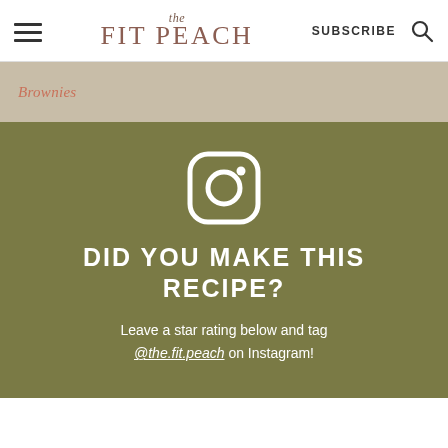the FIT PEACH | SUBSCRIBE
Brownies
[Figure (infographic): Instagram icon (camera with rounded square outline) in white on olive/khaki green background, with text 'DID YOU MAKE THIS RECIPE? Leave a star rating below and tag @the.fit.peach on Instagram!']